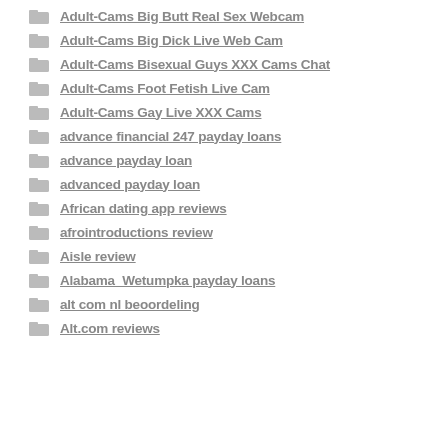Adult-Cams Big Butt Real Sex Webcam
Adult-Cams Big Dick Live Web Cam
Adult-Cams Bisexual Guys XXX Cams Chat
Adult-Cams Foot Fetish Live Cam
Adult-Cams Gay Live XXX Cams
advance financial 247 payday loans
advance payday loan
advanced payday loan
African dating app reviews
afrointroductions review
Aisle review
Alabama_Wetumpka payday loans
alt com nl beoordeling
Alt.com reviews